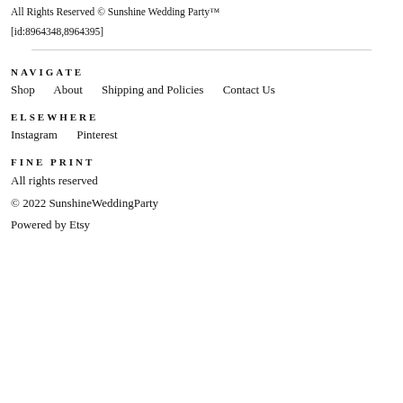All Rights Reserved © Sunshine Wedding Party™
[id:8964348,8964395]
NAVIGATE
Shop
About
Shipping and Policies
Contact Us
ELSEWHERE
Instagram
Pinterest
FINE PRINT
All rights reserved
© 2022 SunshineWeddingParty
Powered by Etsy